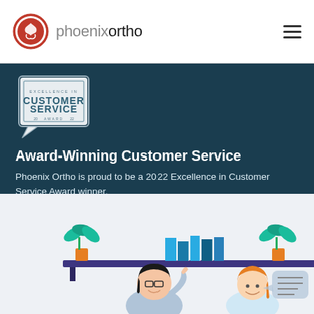phoenixortho
[Figure (logo): Phoenix Ortho logo — red circular phoenix icon with text 'phoenixortho' beside it, and a hamburger menu icon on the right]
[Figure (illustration): Excellence in Customer Service Award 2022 badge — speech bubble shaped medal with 'EXCELLENCE IN CUSTOMER SERVICE AWARD 20 22' text]
Award-Winning Customer Service
Phoenix Ortho is proud to be a 2022 Excellence in Customer Service Award winner.
[Figure (illustration): Illustration of a customer service scene: a shelf with plants and binders above two women at a desk, one with dark hair and glasses gesturing, another with orange hair smiling with a speech bubble]